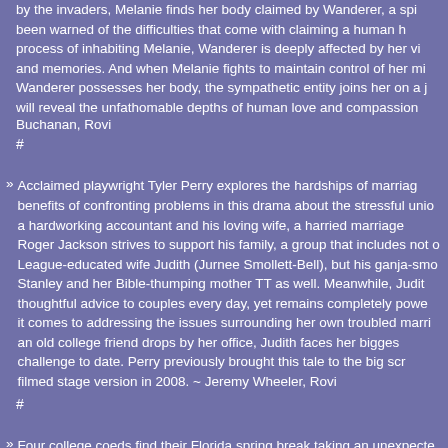by the invaders, Melanie finds her body claimed by Wanderer, a spirit who has been warned of the difficulties that come with claiming a human host. In the process of inhabiting Melanie, Wanderer is deeply affected by her vivid emotions and memories. And when Melanie fights to maintain control of her mind even as Wanderer possesses her body, the sympathetic entity joins her on a journey that will reveal the unfathomable depths of human love and compassion.
Buchanan, Rovi
#
Acclaimed playwright Tyler Perry explores the hardships of marriage and the benefits of confronting problems in this drama about the stressful union between a hardworking accountant and his loving wife, a harried marriage counselor. Roger Jackson strives to support his family, a group that includes not only his Ivy League-educated wife Judith (Jurnee Smollett-Bell), but his ganja-smoking sister Stanley and her Bible-thumping mother TT as well. Meanwhile, Judith dispenses thoughtful advice to couples every day, yet remains completely powerless when it comes to addressing the issues surrounding her own troubled marriage. When an old college friend drops by her office, Judith faces her biggest relationship challenge to date. Perry previously brought this tale to the big screen with a filmed stage version in 2008. ~ Jeremy Wheeler, Rovi
#
Four college coeds find their Florida spring break taking an unexpected turn after falling in with a local gangster in this surreal black comedy